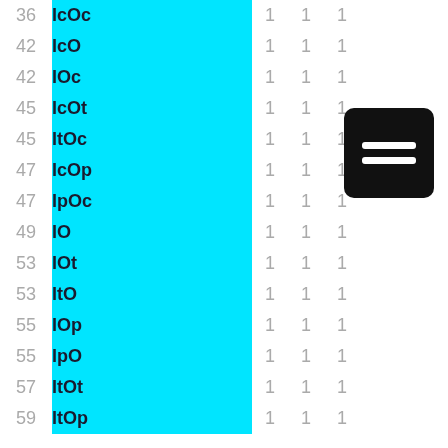| ID | Label | Col1 | Col2 | Col3 |
| --- | --- | --- | --- | --- |
| 36 | IcOc | 1 | 1 | 1 |
| 42 | IcO | 1 | 1 | 1 |
| 42 | IOc | 1 | 1 | 1 |
| 45 | IcOt | 1 | 1 | 1 |
| 45 | ItOc | 1 | 1 | 1 |
| 47 | IcOp | 1 | 1 | 1 |
| 47 | IpOc | 1 | 1 | 1 |
| 49 | IO | 1 | 1 | 1 |
| 53 | IOt | 1 | 1 | 1 |
| 53 | ItO | 1 | 1 | 1 |
| 55 | IOp | 1 | 1 | 1 |
| 55 | IpO | 1 | 1 | 1 |
| 57 | ItOt | 1 | 1 | 1 |
| 59 | ItOp | 1 | 1 | 1 |
[Figure (other): Black rounded rectangle icon with two horizontal white lines (hamburger/menu icon)]